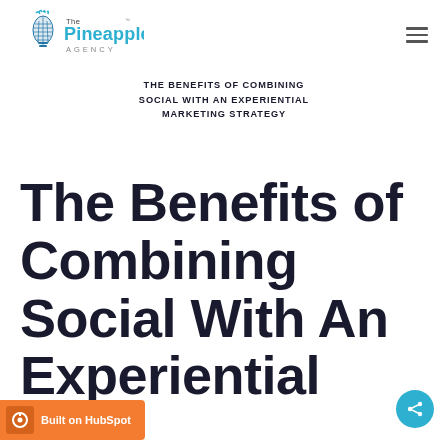The Pineapple Agency
THE BENEFITS OF COMBINING SOCIAL WITH AN EXPERIENTIAL MARKETING STRATEGY
The Benefits of Combining Social With An Experiential
[Figure (logo): The Pineapple Agency logo with pineapple lightbulb icon in blue and teal]
Built on HubSpot